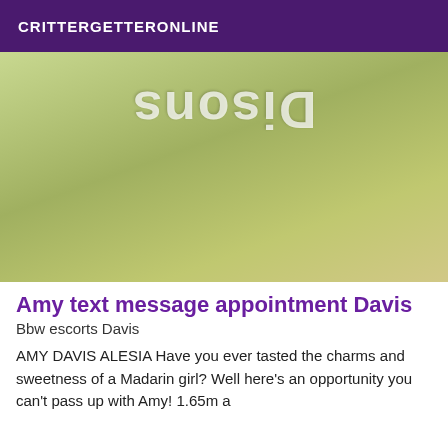CRITTERGETTERONLINE
[Figure (photo): A photo of a person on a bed with a green/yellow bedsheet. A mirrored/reversed watermark text reading 'Disons' is overlaid at the top of the image.]
Amy text message appointment Davis
Bbw escorts Davis
AMY DAVIS ALESIA Have you ever tasted the charms and sweetness of a Madarin girl? Well here's an opportunity you can't pass up with Amy! 1.65m a